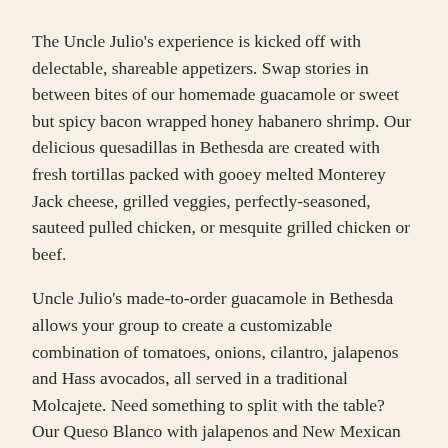The Uncle Julio's experience is kicked off with delectable, shareable appetizers. Swap stories in between bites of our homemade guacamole or sweet but spicy bacon wrapped honey habanero shrimp. Our delicious quesadillas in Bethesda are created with fresh tortillas packed with gooey melted Monterey Jack cheese, grilled veggies, perfectly-seasoned, sauteed pulled chicken, or mesquite grilled chicken or beef.
Uncle Julio's made-to-order guacamole in Bethesda allows your group to create a customizable combination of tomatoes, onions, cilantro, jalapenos and Hass avocados, all served in a traditional Molcajete. Need something to split with the table? Our Queso Blanco with jalapenos and New Mexican hatch chiles will do the trick!
Uncle Julio's is Ideal for Lunch or Dinner in Bethesda, MD